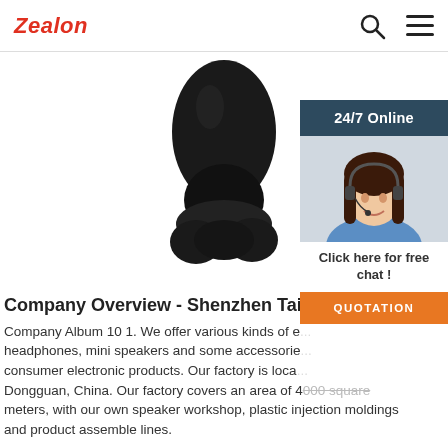Zealon
[Figure (photo): Black wireless earbud product photo on white background, showing the earpiece and charging case top view]
[Figure (photo): 24/7 Online chat widget showing a woman with a headset, with 'Click here for free chat!' text and orange QUOTATION button]
Company Overview - Shenzhen Tai-Sound Te...
Company Album 10 1. We offer various kinds of e... headphones, mini speakers and some accessorie... consumer electronic products. Our factory is loca... Dongguan, China. Our factory covers an area of 4[000 square meters, with our own speaker workshop, plastic injection moldings and product assemble lines.
Get Price